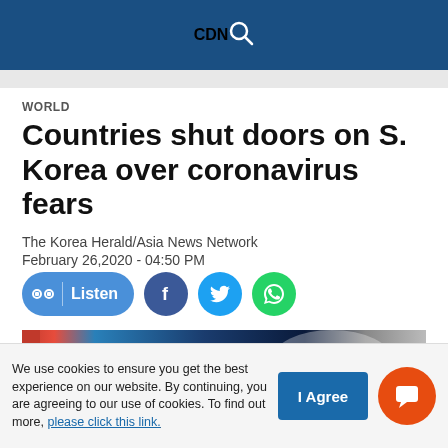CDN
WORLD
Countries shut doors on S. Korea over coronavirus fears
The Korea Herald/Asia News Network
February 26,2020 - 04:50 PM
[Figure (photo): Photo showing airport signage related to travel restrictions, with Chinese immigration signage visible]
We use cookies to ensure you get the best experience on our website. By continuing, you are agreeing to our use of cookies. To find out more, please click this link.